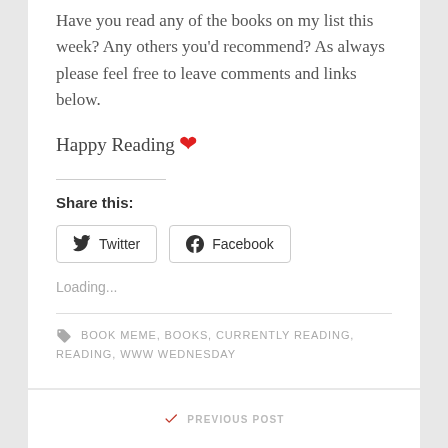Have you read any of the books on my list this week? Any others you'd recommend? As always please feel free to leave comments and links below.
Happy Reading ❤
Share this:
Twitter  Facebook
Loading...
BOOK MEME, BOOKS, CURRENTLY READING, READING, WWW WEDNESDAY
PREVIOUS POST